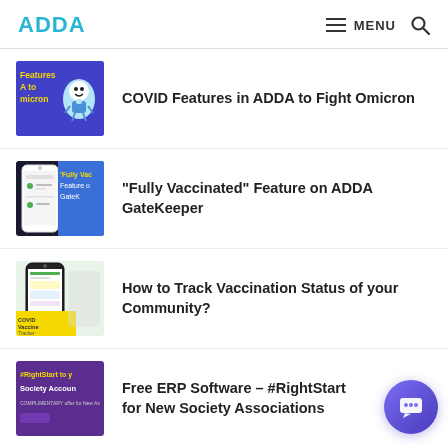ADDA | MENU 🔍
[Figure (screenshot): Thumbnail for COVID Features in ADDA to Fight Omicron article - blue/purple background with cartoon vaccine character]
COVID Features in ADDA to Fight Omicron
[Figure (screenshot): Thumbnail for Fully Vaccinated Feature on ADDA GateKeeper article - smartphone mockup with blue background]
"Fully Vaccinated" Feature on ADDA GateKeeper
[Figure (screenshot): Thumbnail for How to Track Vaccination Status of your Community - smartphone showing COVID Vaccine Tracker app]
How to Track Vaccination Status of your Community?
[Figure (screenshot): Thumbnail for Free ERP Software - purple background with #RightStart to Society Account text]
Free ERP Software – #RightStart for New Society Associations